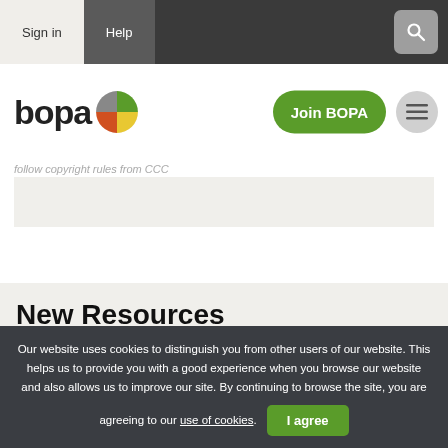Sign in | Help
[Figure (logo): BOPA logo with pie chart icon, Join BOPA green button, hamburger menu]
follow copyright rules from CCC
New Resources
Our website uses cookies to distinguish you from other users of our website. This helps us to provide you with a good experience when you browse our website and also allows us to improve our site. By continuing to browse the site, you are agreeing to our use of cookies.